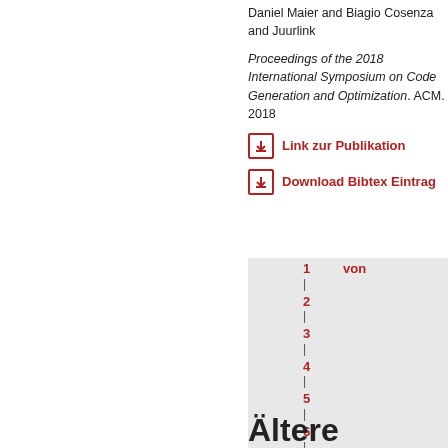Daniel Maier and Biagio Cosenza and Juurlink
Proceedings of the 2018 International Symposium on Code Generation and Optimization. ACM. 2018
Link zur Publikation
Download Bibtex Eintrag
[Figure (other): Pagination widget with numbers 1 through 9 and 'von' label on grey background]
Ältere